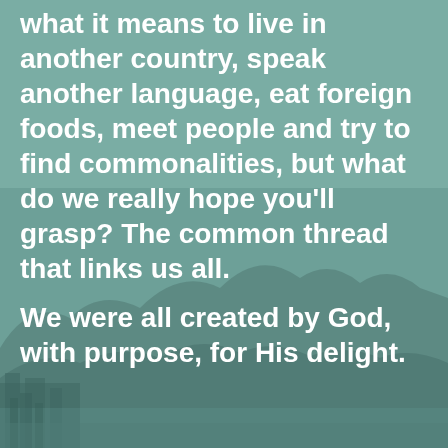what it means to live in another country, speak another language, eat foreign foods, meet people and try to find commonalities, but what do we really hope you'll grasp? The common thread that links us all.
[Figure (illustration): Background image of a coastal city with mountains, rendered in muted teal/grey tones as a watercolor-style silhouette overlay]
We were all created by God, with purpose, for His delight.